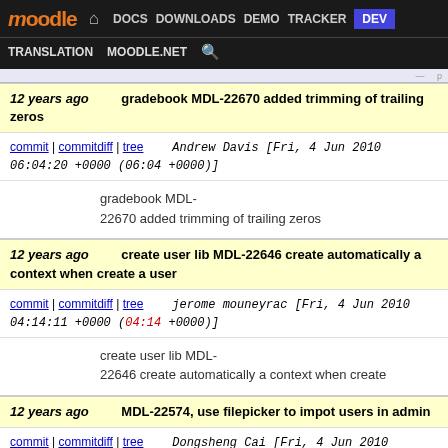Moodle | DOCS | DOWNLOADS | DEMO | TRACKER | DEV | TRANSLATION | MOODLE.NET
(cut-off top row)
12 years ago   gradebook MDL-22670 added trimming of trailing zeros
commit | commitdiff | tree   Andrew Davis [Fri, 4 Jun 2010 06:04:20 +0000 (06:04 +0000)]
gradebook MDL-22670 added trimming of trailing zeros
12 years ago   create user lib MDL-22646 create automatically a context when create a user
commit | commitdiff | tree   jerome mouneyrac [Fri, 4 Jun 2010 04:14:11 +0000 (04:14 +0000)]
create user lib MDL-22646 create automatically a context when create
12 years ago   MDL-22574, use filepicker to impot users in admin
commit | commitdiff | tree   Dongsheng Cai [Fri, 4 Jun 2010